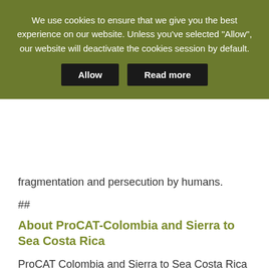We use cookies to ensure that we give you the best experience on our website. Unless you've selected "Allow", our website will deactivate the cookies session by default.
Allow   Read more
fragmentation and persecution by humans.
##
About ProCAT-Colombia and Sierra to Sea Costa Rica
ProCAT Colombia and Sierra to Sea Costa Rica are sister NGOs that work to develop biological research and to promote social and cultural sustainable development goals using and interdisciplinary approach including the human and natural dimensions of wild felid conflicts. This integrated conservation